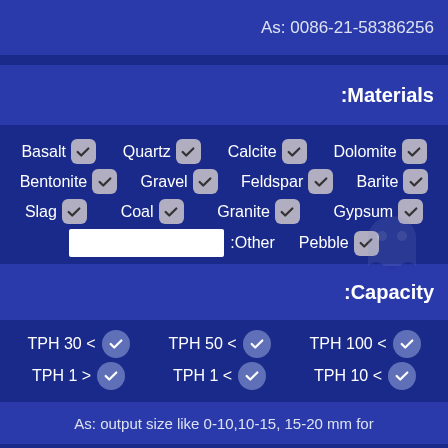As: 0086-21-58386256
Materials:
Basalt [checked]
Quartz [checked]
Calcite [checked]
Dolomite [checked]
Bentonite [checked]
Gravel [checked]
Feldspar [checked]
Barite [checked]
Slag [checked]
Coal [checked]
Granite [checked]
Gypsum [checked]
Other: [text input]
Pebble [checked]
Capacity:
TPH 30 < [checked]
TPH 50 < [checked]
TPH 100 < [checked]
TPH 1 > [checked]
TPH 1 < [checked]
TPH 10 < [checked]
As: output size like 0-10,10-15, 15-20 mm for